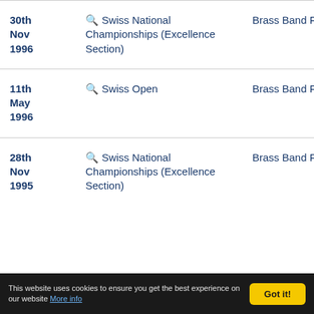| Date | Event | Venue |  |
| --- | --- | --- | --- |
| 30th Nov 1996 | 🔍 Swiss National Championships (Excellence Section) | Brass Band Fribourg |  |
| 11th May 1996 | 🔍 Swiss Open | Brass Band Fribourg |  |
| 28th Nov 1995 | 🔍 Swiss National Championships (Excellence Section) | Brass Band Fribourg |  |
This website uses cookies to ensure you get the best experience on our website More info Got it!